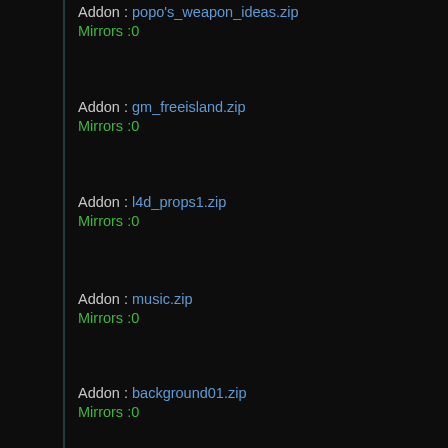Addon : popo's_weapon_ideas.zip
Mirrors :0
Addon : gm_freeisland.zip
Mirrors :0
Addon : l4d_props1.zip
Mirrors :0
Addon : music.zip
Mirrors :0
Addon : background01.zip
Mirrors :0
Addon : gm_ps_ski_fix.zip
Mirrors :0
Addon : rollercoaster.zip
Mirrors :0
Addon : BG - Girls With Teddy
Mirrors :0
Addon : l4d2_special_tier_pack.zip
Mirrors :0